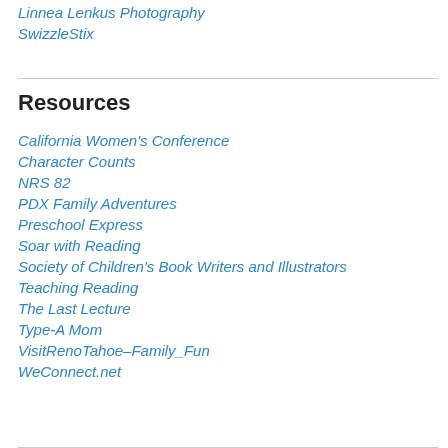Linnea Lenkus Photography
SwizzleStix
Resources
California Women's Conference
Character Counts
NRS 82
PDX Family Adventures
Preschool Express
Soar with Reading
Society of Children's Book Writers and Illustrators
Teaching Reading
The Last Lecture
Type-A Mom
VisitRenoTahoe–Family_Fun
WeConnect.net